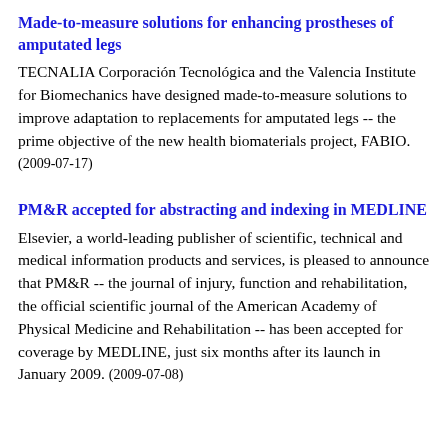Made-to-measure solutions for enhancing prostheses of amputated legs
TECNALIA Corporación Tecnológica and the Valencia Institute for Biomechanics have designed made-to-measure solutions to improve adaptation to replacements for amputated legs -- the prime objective of the new health biomaterials project, FABIO. (2009-07-17)
PM&R accepted for abstracting and indexing in MEDLINE
Elsevier, a world-leading publisher of scientific, technical and medical information products and services, is pleased to announce that PM&R -- the journal of injury, function and rehabilitation, the official scientific journal of the American Academy of Physical Medicine and Rehabilitation -- has been accepted for coverage by MEDLINE, just six months after its launch in January 2009. (2009-07-08)